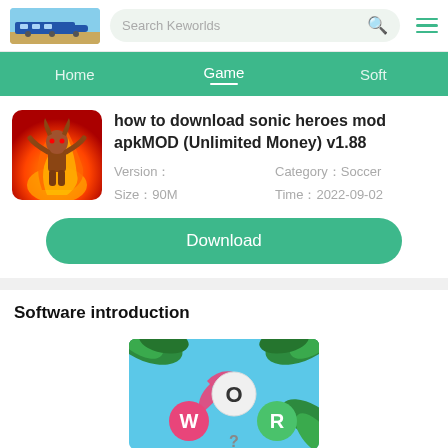[Figure (screenshot): Website header with logo (train image), search bar labeled 'Search Keworlds', search icon, and hamburger menu icon]
Home | Game | Soft
how to download sonic heroes mod apkMOD (Unlimited Money) v1.88
Version：
Size：90M
Category：Soccer
Time：2022-09-02
Download
Software introduction
[Figure (screenshot): Word game app screenshot showing letters W, O, R on colored circles with tropical leaf background]